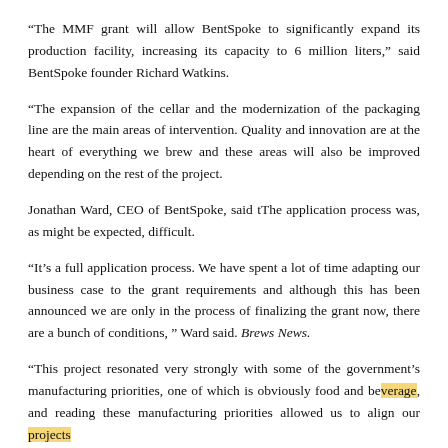“The MMF grant will allow BentSpoke to significantly expand its production facility, increasing its capacity to 6 million liters,” said BentSpoke founder Richard Watkins.
“The expansion of the cellar and the modernization of the packaging line are the main areas of intervention. Quality and innovation are at the heart of everything we brew and these areas will also be improved depending on the rest of the project.
Jonathan Ward, CEO of BentSpoke, said tThe application process was, as might be expected, difficult.
“It’s a full application process. We have spent a lot of time adapting our business case to the grant requirements and although this has been announced we are only in the process of finalizing the grant now, there are a bunch of conditions, ” Ward said. Brews News.
“This project resonated very strongly with some of the government’s manufacturing priorities, one of which is obviously food and beverage, and reading these manufacturing priorities allowed us to align our projects